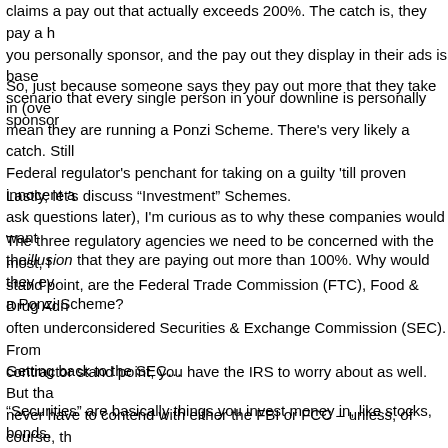claims a pay out that actually exceeds 200%. The catch is, they pay a higher % on only what you personally sponsor, and the pay out they display in their ads is based on the impossible scenario that every single person in your downline is personally sponsored by you.
So, just because someone says they pay out more that they take in (over 100%), doesn't mean they are running a Ponzi Scheme. There's very likely a catch. Still, given the Federal regulator's penchant for taking on a guilty 'till proven innocent attitude (shoot first, ask questions later), I'm curious as to why these companies would want to even create the illusion that they are paying out more than 100%. Why would they even want to look like a Ponzi Scheme?
Lastly, let's discuss “Investment” Schemes.
The three regulatory agencies we need to be concerned with the most, from an MLM stand point, are the Federal Trade Commission (FTC), Food & Drug Administration (FDA), often underconsidered Securities & Exchange Commission (SEC). From an independent contractor stand point, you have the IRS to worry about as well. But that said, you should never have to contend with either the FBI or FCC – unless, of course, the “herbal high” you get from your herbal product is derived from a South American poppy, or you spam email as a distributor.
Getting back to the SEC…
“Securities” are basically things you invest money in, like stocks, bonds, mutual funds, and so on. You have to register the securities you sell with the SEC and get a license to sell them. Skip either step and you might be going away for a little wh